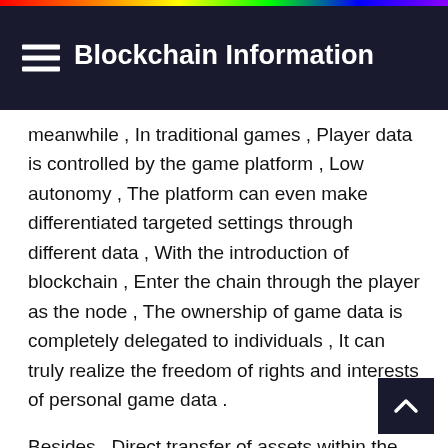Blockchain Information
meanwhile , In traditional games , Player data is controlled by the game platform , Low autonomy , The platform can even make differentiated targeted settings through different data , With the introduction of blockchain , Enter the chain through the player as the node , The ownership of game data is completely delegated to individuals , It can truly realize the freedom of rights and interests of personal game data .
Besides , Direct transfer of assets within the blockchain . Compared with the low security in the game world  Cumbersome asset outflows and transfers ,NFT The intervention of can directly endow the virtual assets in game with real value attributes through asset tokeniza , At the same time, it can be through token Conduct transaction flow . Promote the marketization of game